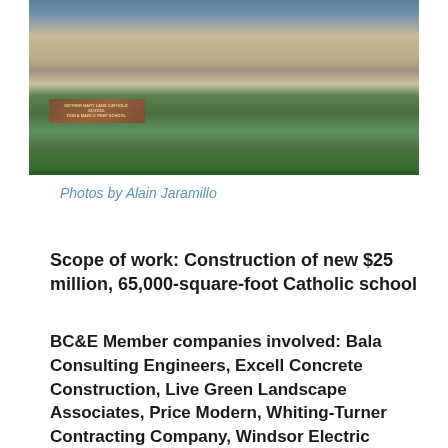[Figure (photo): Exterior photograph of a new Catholic school building at dusk, showing a multi-story brick and glass structure with a school sign in front reading 'MOTHER MARY LANG CATHOLIC SCHOOL' surrounded by landscaping and trees.]
Photos by Alain Jaramillo
Scope of work: Construction of new $25 million, 65,000-square-foot Catholic school
BC&E Member companies involved: Bala Consulting Engineers, Excell Concrete Construction, Live Green Landscape Associates, Price Modern, Whiting-Turner Contracting Company, Windsor Electric